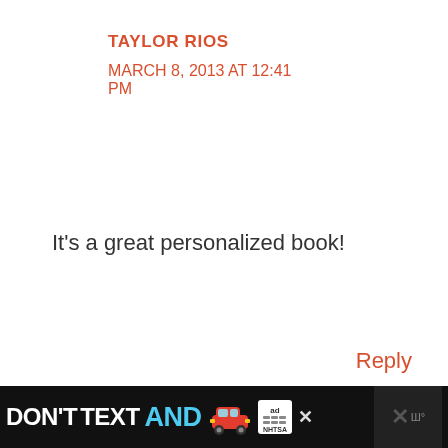TAYLOR RIOS
MARCH 8, 2013 AT 12:41 PM
It's a great personalized book!
Reply
HESPER FRY
MARCH 7, 2013 AT 9:54 PM
[Figure (other): Ad banner: DON'T TEXT AND [car emoji] with NHTSA logo and close buttons]
[Figure (other): Share button circle icon]